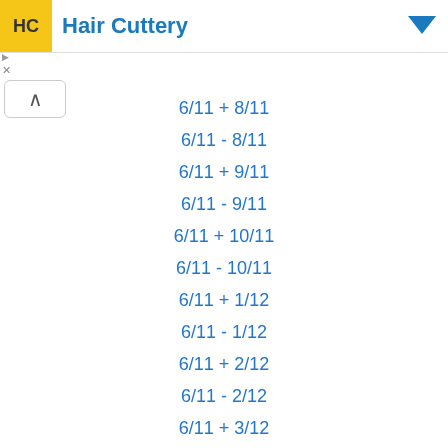Hair Cuttery
6/11 + 8/11
6/11 - 8/11
6/11 + 9/11
6/11 - 9/11
6/11 + 10/11
6/11 - 10/11
6/11 + 1/12
6/11 - 1/12
6/11 + 2/12
6/11 - 2/12
6/11 + 3/12
6/11 - 3/12
6/11 + 4/12
6/11 - 4/12